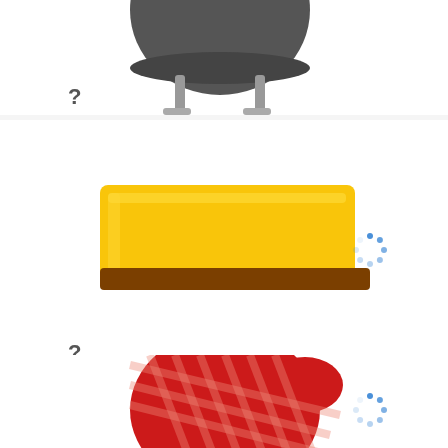[Figure (illustration): Bottom portion of a dark gray spherical BBQ grill with legs, partially cropped at top]
?
14.
[Figure (illustration): A stick of butter (yellow rectangular block) on a brown rectangular butter dish/tray, with a blue loading spinner icon to the right]
?
15.
[Figure (illustration): A red plaid/checkered oven mitt with a small tie/bow at the bottom, with a blue loading spinner icon to the right]